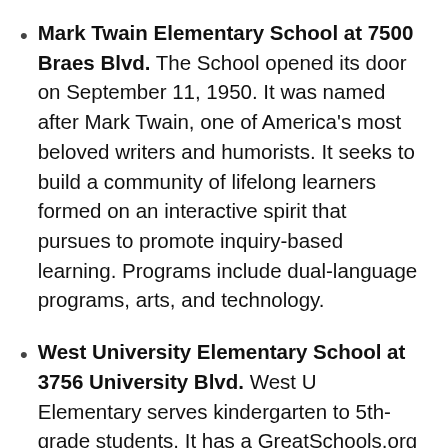Mark Twain Elementary School at 7500 Braes Blvd. The School opened its door on September 11, 1950. It was named after Mark Twain, one of America's most beloved writers and humorists. It seeks to build a community of lifelong learners formed on an interactive spirit that pursues to promote inquiry-based learning. Programs include dual-language programs, arts, and technology.
West University Elementary School at 3756 University Blvd. West U Elementary serves kindergarten to 5th-grade students. It has a GreatSchools.org rating of 10/10. The institution seeks to establish a neighborhood school community in the heart of Houston that offers